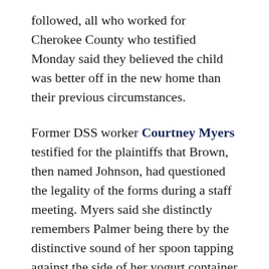followed, all who worked for Cherokee County who testified Monday said they believed the child was better off in the new home than their previous circumstances.
Former DSS worker Courtney Myers testified for the plaintiffs that Brown, then named Johnson, had questioned the legality of the forms during a staff meeting. Myers said she distinctly remembers Palmer being there by the distinctive sound of her spoon tapping against the side of her yogurt container during the meeting.
Myers said she was involved in about five